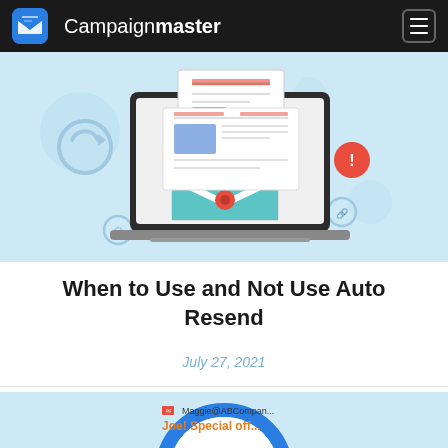Campaignmaster
[Figure (illustration): Hero illustration showing a laptop computer with an email/newsletter on screen, surrounded by email-related icons including an envelope, refresh/sync icon, link icon, and alert icon on a light blue background]
When to Use and Not Use Auto Resend
July 27, 2021
[Figure (illustration): Partial illustration showing a blue magnifying glass circle with an email interface inside, showing Maggie@ABCompany and text 'Joe! Special off...' on a light blue background]